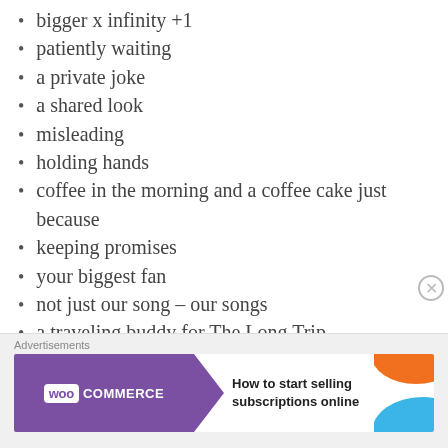bigger x infinity +1
patiently waiting
a private joke
a shared look
misleading
holding hands
coffee in the morning and a coffee cake just because
keeping promises
your biggest fan
not just our song – our songs
a traveling buddy for The Long Trip
holding on tightly
letting go
Advertisements
[Figure (other): WooCommerce advertisement banner with text: How to start selling subscriptions online]